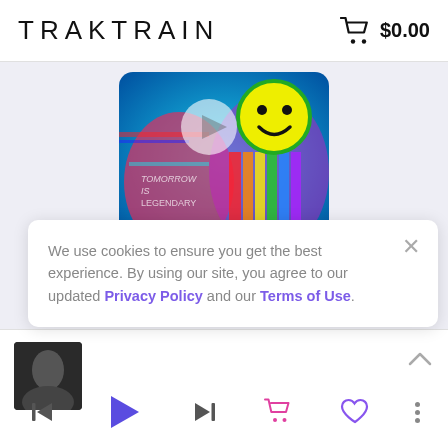TRAKTRAIN  $0.00
[Figure (photo): Colorful psychedelic album art with smiley face and abstract figures]
PRODPXBLO
We use cookies to ensure you get the best experience. By using our site, you agree to our updated Privacy Policy and our Terms of Use.
Show more
[Figure (photo): Small thumbnail of a person in dark clothing]
Player controls: skip back, play, skip forward, cart, heart, more options